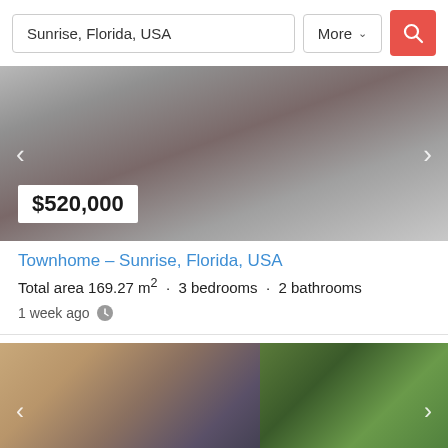Sunrise, Florida, USA
[Figure (photo): Property listing photo - blurred/gray image of a townhome with price badge $520,000]
Townhome – Sunrise, Florida, USA
Total area 169.27 m² · 3 bedrooms · 2 bathrooms
1 week ago
[Figure (photo): Second property listing photo showing modern home exterior with wood siding and green foliage]